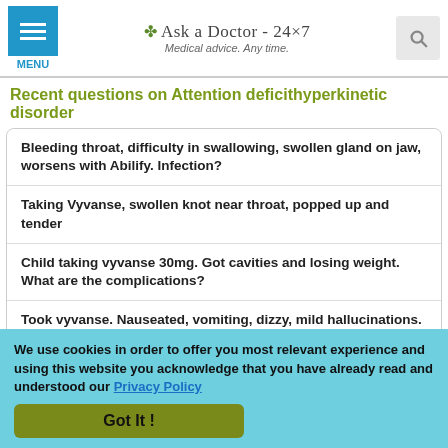Ask a Doctor - 24x7 | Medical advice. Any time.
Recent questions on Attention deficithyperkinetic disorder
Bleeding throat, difficulty in swallowing, swollen gland on jaw, worsens with Abilify. Infection?
Taking Vyvanse, swollen knot near throat, popped up and tender
Child taking vyvanse 30mg. Got cavities and losing weight. What are the complications?
Took vyvanse. Nauseated, vomiting, dizzy, mild hallucinations. Why weak?
We use cookies in order to offer you most relevant experience and using this website you acknowledge that you have already read and understood our Privacy Policy
Got It !